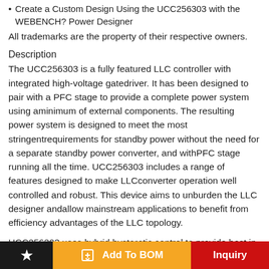Create a Custom Design Using the UCC256303 with the WEBENCH? Power Designer
All trademarks are the property of their respective owners.
Description
The UCC256303 is a fully featured LLC controller with integrated high-voltage gatedriver. It has been designed to pair with a PFC stage to provide a complete power system using aminimum of external components. The resulting power system is designed to meet the most stringentrequirements for standby power without the need for a separate standby power converter, and withPFC stage running all the time. UCC256303 includes a range of features designed to make LLCconverter operation well controlled and robust. This device aims to unburden the LLC designer andallow mainstream applications to benefit from efficiency advantages of the LLC topology.
UCC256303 uses hybrid hysteretic control to provide best in class line and load transientresponse. The control effort is approximately linearly proportional to average input current in